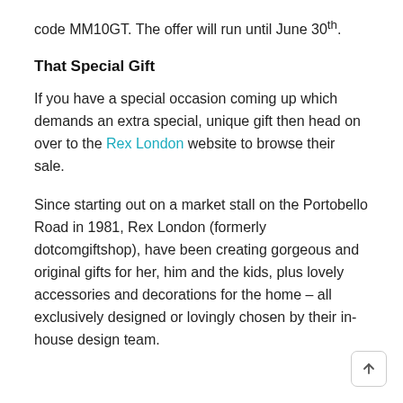code MM10GT. The offer will run until June 30th.
That Special Gift
If you have a special occasion coming up which demands an extra special, unique gift then head on over to the Rex London website to browse their sale.
Since starting out on a market stall on the Portobello Road in 1981, Rex London (formerly dotcomgiftshop), have been creating gorgeous and original gifts for her, him and the kids, plus lovely accessories and decorations for the home – all exclusively designed or lovingly chosen by their in-house design team.